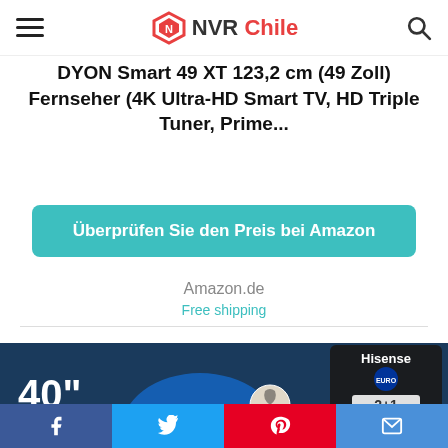NVR Chile
DYON Smart 49 XT 123,2 cm (49 Zoll) Fernseher (4K Ultra-HD Smart TV, HD Triple Tuner, Prime...
Überprüfen Sie den Preis bei Amazon
Amazon.de
Free shipping
[Figure (photo): Hisense TV product advertisement showing a person holding a soccer ball with 40 inch display text and Hisense Euro2020 2+1 warranty badge]
Facebook Twitter Pinterest Email